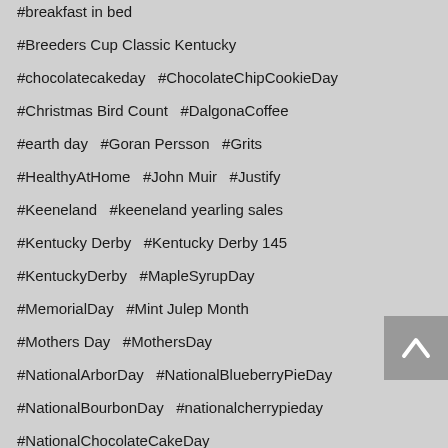#breakfast in bed
#Breeders Cup Classic Kentucky
#chocolatecakeday  #ChocolateChipCookieDay
#Christmas Bird Count  #DalgonaCoffee
#earth day  #Goran Persson  #Grits
#HealthyAtHome  #John Muir  #Justify
#Keeneland  #keeneland yearling sales
#Kentucky Derby  #Kentucky Derby 145
#KentuckyDerby  #MapleSyrupDay
#MemorialDay  #Mint Julep Month
#Mothers Day  #MothersDay
#NationalArborDay  #NationalBlueberryPieDay
#NationalBourbonDay  #nationalcherrypieday
#NationalChocolateCakeDay